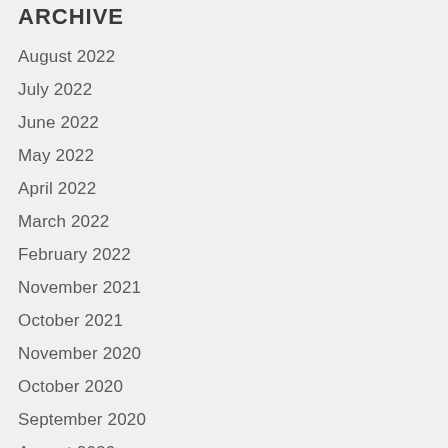ARCHIVE
August 2022
July 2022
June 2022
May 2022
April 2022
March 2022
February 2022
November 2021
October 2021
November 2020
October 2020
September 2020
August 2020